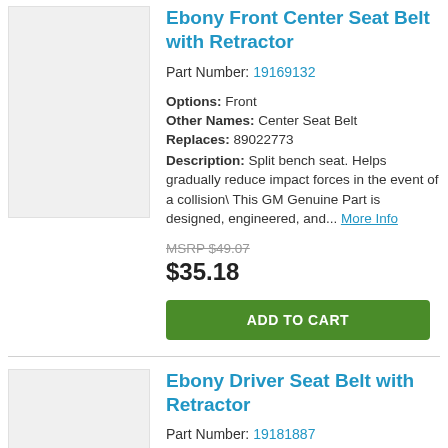[Figure (photo): Product image placeholder for Ebony Front Center Seat Belt with Retractor]
Ebony Front Center Seat Belt with Retractor
Part Number: 19169132
Options: Front
Other Names: Center Seat Belt
Replaces: 89022773
Description: Split bench seat. Helps gradually reduce impact forces in the event of a collision\ This GM Genuine Part is designed, engineered, and... More Info
MSRP $49.07
$35.18
ADD TO CART
[Figure (photo): Product image placeholder for Ebony Driver Seat Belt with Retractor]
Ebony Driver Seat Belt with Retractor
Part Number: 19181887
Options: Left Front, Left
Other Names: Seat Belt Assembly